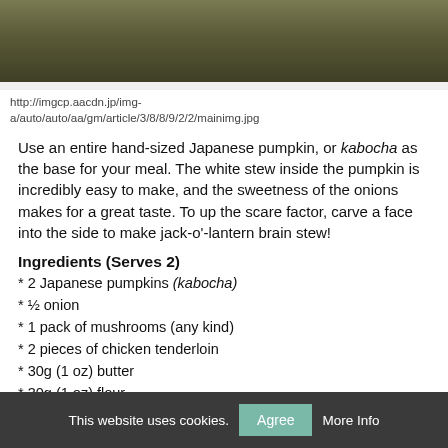[Figure (photo): Photo of a Japanese pumpkin (kabocha) on a white plate, viewed from above, dark green surface visible]
http://imgcp.aacdn.jp/img-a/auto/auto/aa/gm/article/3/8/8/9/2/2/mainimg.jpg
Use an entire hand-sized Japanese pumpkin, or kabocha as the base for your meal. The white stew inside the pumpkin is incredibly easy to make, and the sweetness of the onions makes for a great taste. To up the scare factor, carve a face into the side to make jack-o'-lantern brain stew!
Ingredients (Serves 2)
* 2 Japanese pumpkins (kabocha)
* ½ onion
* 1 pack of mushrooms (any kind)
* 2 pieces of chicken tenderloin
* 30g (1 oz) butter
* 30g (1 oz) flour
* 300 ml (10.1 fl. oz) milk
* Salt and pepper to taste
* 1 slice processed cheese
Directions